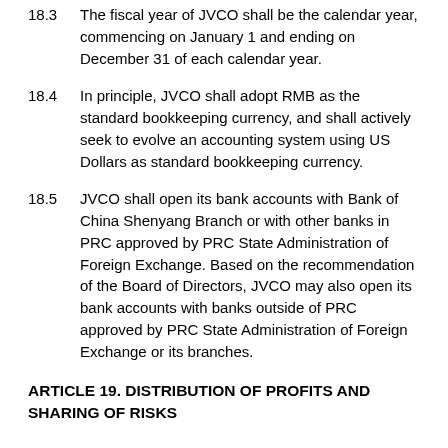18.3  The fiscal year of JVCO shall be the calendar year, commencing on January 1 and ending on December 31 of each calendar year.
18.4  In principle, JVCO shall adopt RMB as the standard bookkeeping currency, and shall actively seek to evolve an accounting system using US Dollars as standard bookkeeping currency.
18.5  JVCO shall open its bank accounts with Bank of China Shenyang Branch or with other banks in PRC approved by PRC State Administration of Foreign Exchange. Based on the recommendation of the Board of Directors, JVCO may also open its bank accounts with banks outside of PRC approved by PRC State Administration of Foreign Exchange or its branches.
ARTICLE 19. DISTRIBUTION OF PROFITS AND SHARING OF RISKS